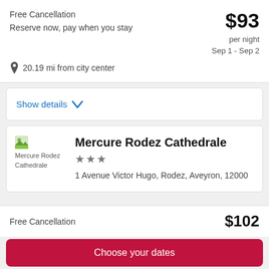Free Cancellation
Reserve now, pay when you stay
$93 per night
Sep 1 - Sep 2
20.19 mi from city center
Show details ∨
[Figure (logo): Mercure Rodez Cathedrale hotel logo/image placeholder]
Mercure Rodez Cathedrale
★★★
1 Avenue Victor Hugo, Rodez, Aveyron, 12000
Free Cancellation
$102
Choose your dates